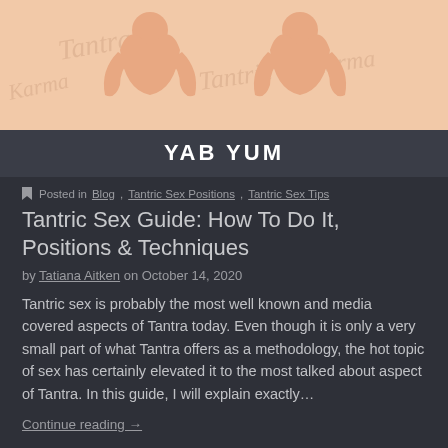[Figure (illustration): Illustration of two human figures in a yoga/seated position with watermark-style text reading 'Tantra', 'Karma', 'Tantric' overlaid in a light cursive style on a light peach/beige background.]
YAB YUM
Posted in Blog, Tantric Sex Positions, Tantric Sex Tips
Tantric Sex Guide: How To Do It, Positions & Techniques
by Tatiana Aitken on October 14, 2020
Tantric sex is probably the most well known and media covered aspects of Tantra today. Even though it is only a very small part of what Tantra offers as a methodology, the hot topic of sex has certainly elevated it to the most talked about aspect of Tantra. In this guide, I will explain exactly…
Continue reading →